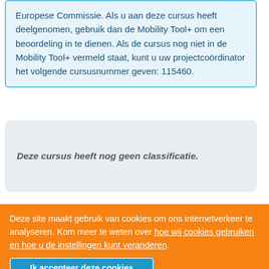Europese Commissie. Als u aan deze cursus heeft deelgenomen, gebruik dan de Mobility Tool+ om een beoordeling in te dienen. Als de cursus nog niet in de Mobility Tool+ vermeld staat, kunt u uw projectcoördinator het volgende cursusnummer geven: 115460.
Deze cursus heeft nog geen classificatie.
Deze site maakt gebruik van cookies om ons internetverkeer te analyseren. Kom meer te weten over hoe wij cookies gebruiken en hoe u de instellingen kunt veranderen.
Ik accepteer deze cookies
Ik wijs deze cookies af